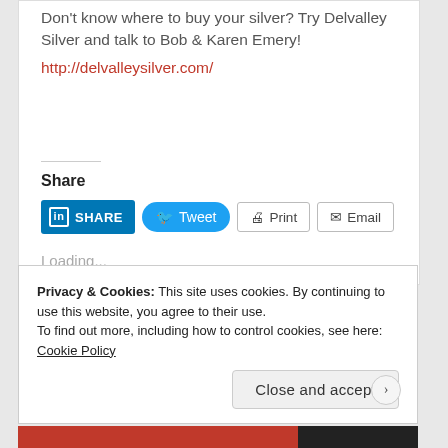Don't know where to buy your silver? Try Delvalley Silver and talk to Bob & Karen Emery!
http://delvalleysilver.com/
Share
[Figure (other): Social share buttons: LinkedIn SHARE, Tweet, Print, Email]
Loading...
Privacy & Cookies: This site uses cookies. By continuing to use this website, you agree to their use. To find out more, including how to control cookies, see here: Cookie Policy
Close and accept